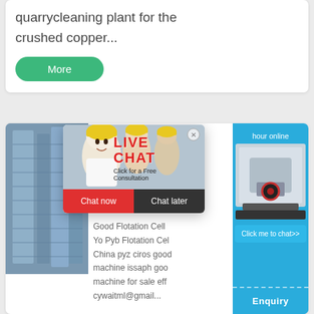quarrycleaning plant for the crushed copper...
More
[Figure (photo): Industrial equipment on the left; photo of workers in yellow hard hats with a live chat overlay dialog in the center; blue sidebar panel on the right with a crusher machine image.]
LIVE CHAT
Click for a Free Consultation
Chat now
Chat later
hour online
Click me to chat>>
Enquiry
Good Flotation Cell
Yo Pyb Flotation Cel
China pyz ciros good
machine issaph goo
machine for sale eff
cywaitml@gmail...